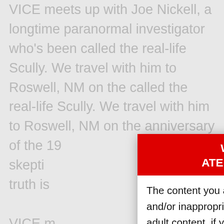VICE meets up with Joe Nickell, a longtime paranormal investigator who's been called the real-life Scully. We travel with him to Roswell, NM on the called the real-life Scully. We travel with him to Roswell, NM on the anniversary of the 19... skepti... truth is... VICE m... parano... real-li... NM o... to talk... witnes... there,... longti... called...
WARNING: Explicit Content - ATENCIÓN: Contenido para Adultos
The content you are about to view may be considered offensive and/or inappropriate. Furthermore, this content may be considered adult content, if you are not of legal age or are easily offended, you are required to click the exit button.
El contenido de esta web puede ser considerado ofensivo o inapropiado para un público menor de edad. Si